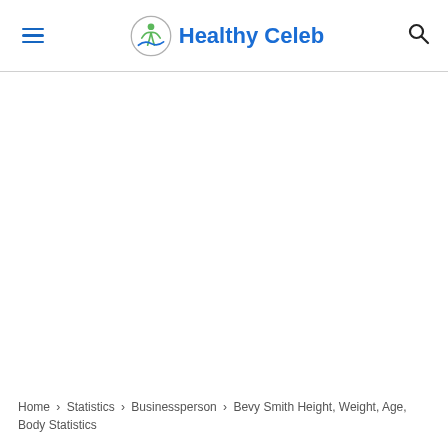Healthy Celeb
Home › Statistics › Businessperson › Bevy Smith Height, Weight, Age, Body Statistics